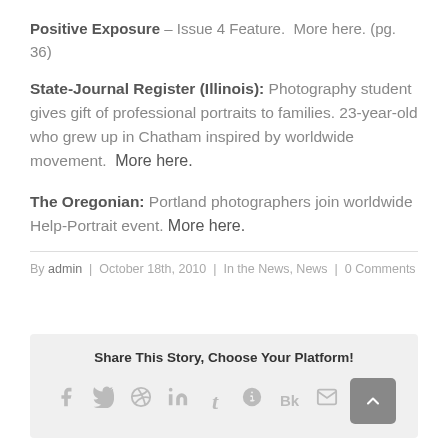Positive Exposure – Issue 4 Feature.  More here. (pg. 36)
State-Journal Register (Illinois): Photography student gives gift of professional portraits to families. 23-year-old who grew up in Chatham inspired by worldwide movement.  More here.
The Oregonian: Portland photographers join worldwide Help-Portrait event. More here.
By admin  |  October 18th, 2010  |  In the News, News  |  0 Comments
Share This Story, Choose Your Platform!